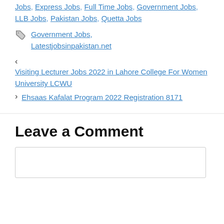Jobs, Express Jobs, Full Time Jobs, Government Jobs, LLB Jobs, Pakistan Jobs, Quetta Jobs
Government Jobs, Latestjobsinpakistan.net
< Visiting Lecturer Jobs 2022 in Lahore College For Women University LCWU
> Ehsaas Kafalat Program 2022 Registration 8171
Leave a Comment